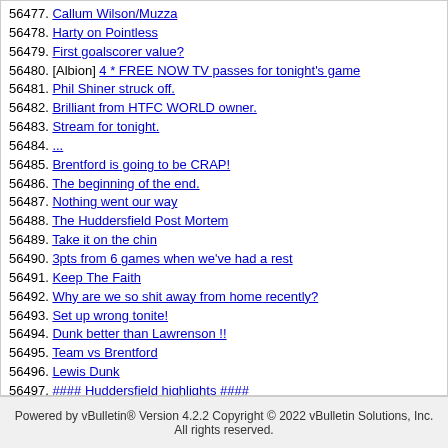56477. Callum Wilson/Muzza
56478. Harty on Pointless
56479. First goalscorer value?
56480. [Albion] 4 * FREE NOW TV passes for tonight's game
56481. Phil Shiner struck off.
56482. Brilliant from HTFC WORLD owner.
56483. Stream for tonight.
56484. ...
56485. Brentford is going to be CRAP!
56486. The beginning of the end.
56487. Nothing went our way
56488. The Huddersfield Post Mortem
56489. Take it on the chin
56490. 3pts from 6 games when we've had a rest
56491. Keep The Faith
56492. Why are we so shit away from home recently?
56493. Set up wrong tonite!
56494. Dunk better than Lawrenson !!
56495. Team vs Brentford
56496. Lewis Dunk
56497. #### Huddersfield highlights ####
56498. Who on earth would want to watch that lot come Sunday afternoon?
56499. Have we been lucky this season?
56500. Have we played a better side than that this season?
Powered by vBulletin® Version 4.2.2 Copyright © 2022 vBulletin Solutions, Inc. All rights reserved.